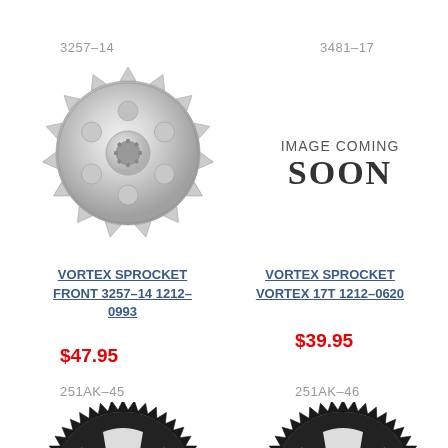3257-14
[Figure (photo): Silver front sprocket with teeth around the edge and center hole, model 3257-14]
3481-17
[Figure (other): Image Coming Soon placeholder text]
VORTEX SPROCKET FRONT 3257-14 1212-0993
$47.95
VORTEX SPROCKET VORTEX 17T 1212-0620
$39.95
251AK-45
[Figure (photo): Black rear sprocket, model 251AK-45, partially visible at bottom]
251AK-46
[Figure (photo): Black rear sprocket, model 251AK-46, partially visible at bottom]